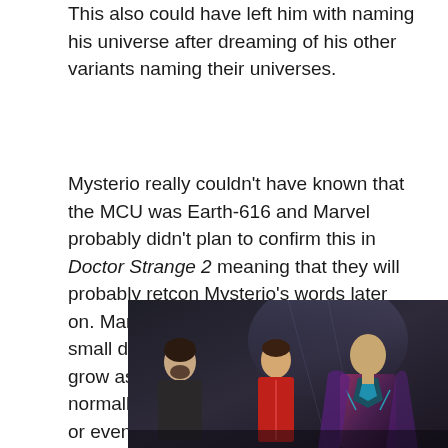This also could have left him with naming his universe after dreaming of his other variants naming their universes.
Mysterio really couldn't have known that the MCU was Earth-616 and Marvel probably didn't plan to confirm this in Doctor Strange 2 meaning that they will probably retcon Mysterio's words later on. Marvel is notorious for retconning small details as the MCU continues to grow as Kevin Feige's master plan normally doesn't include the tiny details or events from the MCU, but rather focuses on a singular goal or objective.
[Figure (photo): Movie scene showing three characters: a bearded man on the left in dark clothing, a young man in the center wearing a red suit, and a man on the right in a futuristic armored suit with blue/teal accents, appearing to be from Spider-Man: Far From Home featuring Mysterio.]